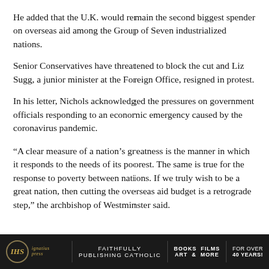He added that the U.K. would remain the second biggest spender on overseas aid among the Group of Seven industrialized nations.
Senior Conservatives have threatened to block the cut and Liz Sugg, a junior minister at the Foreign Office, resigned in protest.
In his letter, Nichols acknowledged the pressures on government officials responding to an economic emergency caused by the coronavirus pandemic.
“A clear measure of a nation’s greatness is the manner in which it responds to the needs of its poorest. The same is true for the response to poverty between nations. If we truly wish to be a great nation, then cutting the overseas aid budget is a retrograde step,” the archbishop of Westminster said.
Ignatius Press | FAITHFULLY PUBLISHING CATHOLIC | BOOKS FILMS ART & MORE | FOR OVER 40 YEARS!